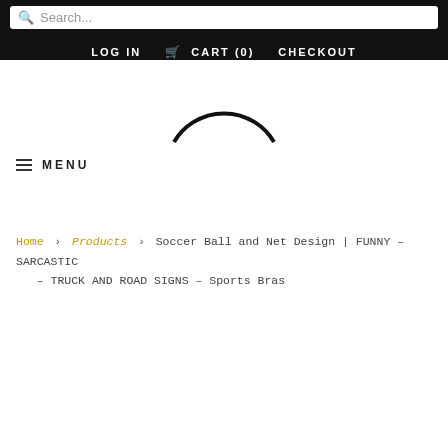Search... | LOG IN  CART (0)  CHECKOUT
[Figure (illustration): Partial view of a circular logo or emblem, showing the bottom arc of a black circle outline on white background]
≡ MENU
Home > Products > Soccer Ball and Net Design | FUNNY – SARCASTIC – TRUCK AND ROAD SIGNS – Sports Bras